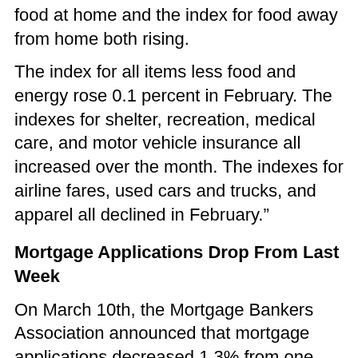food at home and the index for food away from home both rising.
The index for all items less food and energy rose 0.1 percent in February. The indexes for shelter, recreation, medical care, and motor vehicle insurance all increased over the month. The indexes for airline fares, used cars and trucks, and apparel all declined in February.”
Mortgage Applications Drop From Last Week
On March 10th, the Mortgage Bankers Association announced that mortgage applications decreased 1.3% from one week earlier, according to the MBA Weekly Mortgage Applications Survey for the week ending March 5, 2021. Further from the MBA’s release: